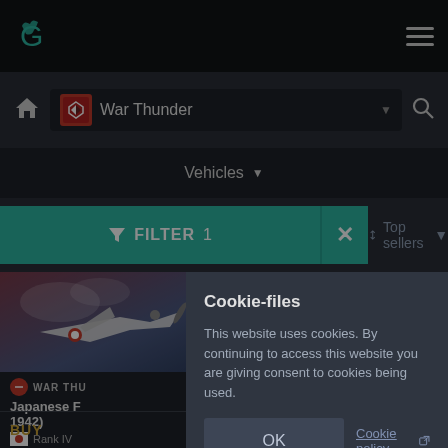GreenMan Gaming — War Thunder
War Thunder
Vehicles
FILTER 1
Top sellers
[Figure (screenshot): Two War Thunder aircraft product cards partially visible]
WAR THU
Japanese F 1942)
Rank IV
BUY
Cookie-files

This website uses cookies. By continuing to access this website you are giving consent to cookies being used.

OK    Cookie policy